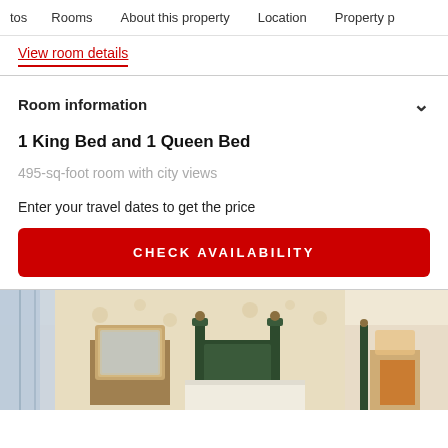tos  Rooms  About this property  Location  Property p
View room details
Room information
1 King Bed and 1 Queen Bed
495-sq-foot room with city views
Enter your travel dates to get the price
CHECK AVAILABILITY
[Figure (photo): Hotel room interior showing beds with ornate headboards, a mirror, and warm lighting]